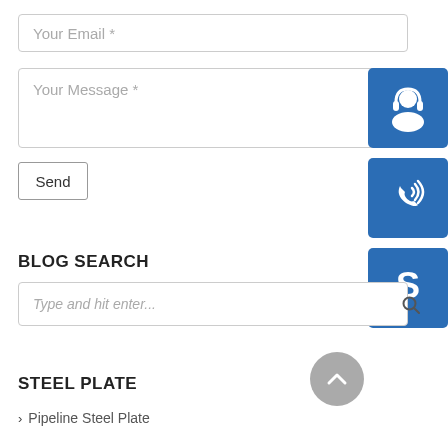Your Email *
Your Message *
Send
[Figure (illustration): Blue square icon with white headset/customer support symbol]
[Figure (illustration): Blue square icon with white phone/call symbol with signal waves]
[Figure (illustration): Blue square icon with white Skype logo symbol]
BLOG SEARCH
Type and hit enter...
STEEL PLATE
[Figure (illustration): Gray circular scroll-to-top button with white upward chevron arrow]
Pipeline Steel Plate